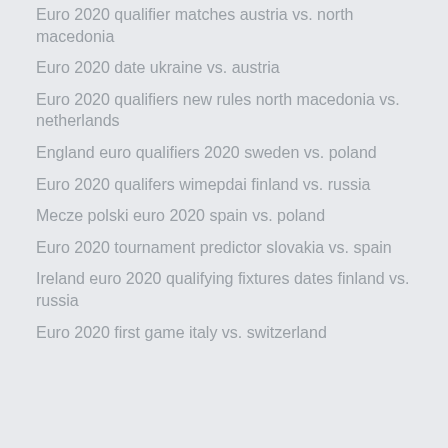Euro 2020 qualifier matches austria vs. north macedonia
Euro 2020 date ukraine vs. austria
Euro 2020 qualifiers new rules north macedonia vs. netherlands
England euro qualifiers 2020 sweden vs. poland
Euro 2020 qualifers wimepdai finland vs. russia
Mecze polski euro 2020 spain vs. poland
Euro 2020 tournament predictor slovakia vs. spain
Ireland euro 2020 qualifying fixtures dates finland vs. russia
Euro 2020 first game italy vs. switzerland